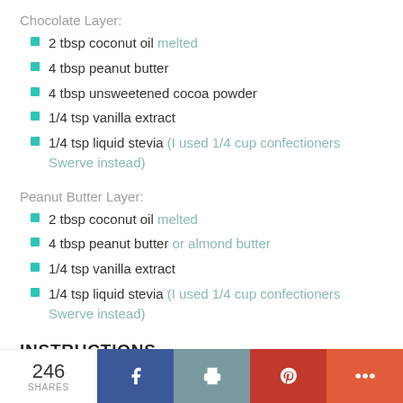Chocolate Layer:
2 tbsp coconut oil melted
4 tbsp peanut butter
4 tbsp unsweetened cocoa powder
1/4 tsp vanilla extract
1/4 tsp liquid stevia (I used 1/4 cup confectioners Swerve instead)
Peanut Butter Layer:
2 tbsp coconut oil melted
4 tbsp peanut butter or almond butter
1/4 tsp vanilla extract
1/4 tsp liquid stevia (I used 1/4 cup confectioners Swerve instead)
INSTRUCTIONS
Chocolate Layer